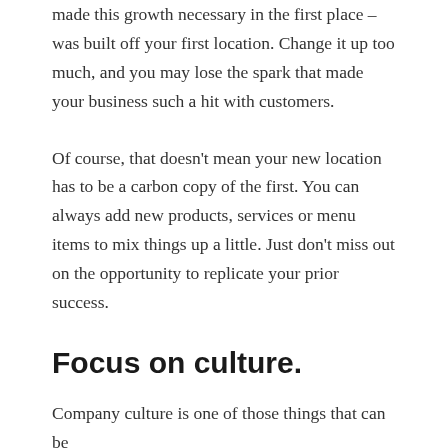made this growth necessary in the first place – was built off your first location. Change it up too much, and you may lose the spark that made your business such a hit with customers.
Of course, that doesn't mean your new location has to be a carbon copy of the first. You can always add new products, services or menu items to mix things up a little. Just don't miss out on the opportunity to replicate your prior success.
Focus on culture.
Company culture is one of those things that can be